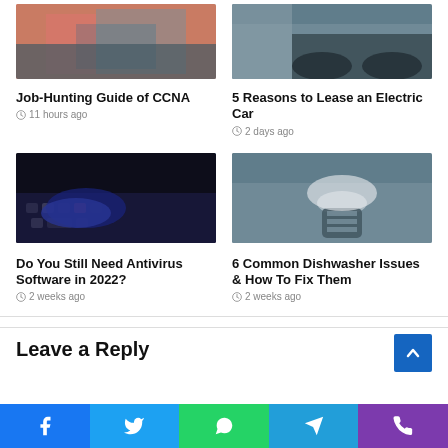[Figure (photo): Person working at a computer/networking setup]
Job-Hunting Guide of CCNA
11 hours ago
[Figure (photo): Electric car parked on street]
5 Reasons to Lease an Electric Car
2 days ago
[Figure (photo): Hands typing on a keyboard in dark lighting]
Do You Still Need Antivirus Software in 2022?
2 weeks ago
[Figure (photo): Hand cleaning dishwasher filter]
6 Common Dishwasher Issues & How To Fix Them
2 weeks ago
Leave a Reply